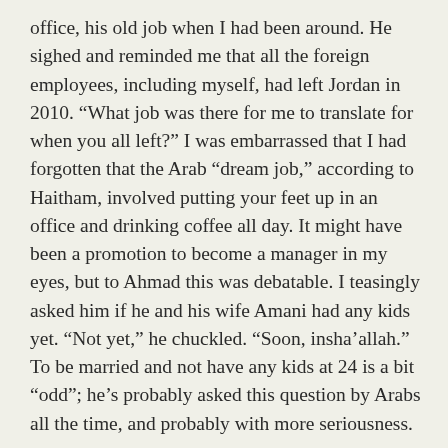office, his old job when I had been around. He sighed and reminded me that all the foreign employees, including myself, had left Jordan in 2010. “What job was there for me to translate for when you all left?” I was embarrassed that I had forgotten that the Arab “dream job,” according to Haitham, involved putting your feet up in an office and drinking coffee all day. It might have been a promotion to become a manager in my eyes, but to Ahmad this was debatable. I teasingly asked him if he and his wife Amani had any kids yet. “Not yet,” he chuckled. “Soon, insha’allah.” To be married and not have any kids at 24 is a bit “odd”; he’s probably asked this question by Arabs all the time, and probably with more seriousness.
Khalil greeted me warmly at the office, but couldn’t chat at the moment – he more or less manages the